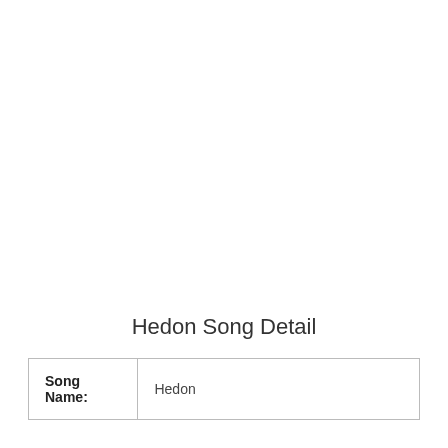Hedon Song Detail
| Song Name: | Hedon |
| --- | --- |
| Song Name: | Hedon |